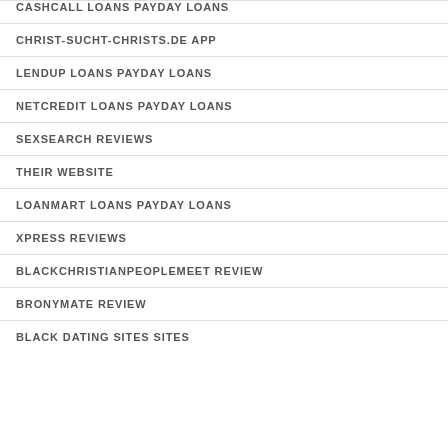CASHCALL LOANS PAYDAY LOANS
CHRIST-SUCHT-CHRISTS.DE APP
LENDUP LOANS PAYDAY LOANS
NETCREDIT LOANS PAYDAY LOANS
SEXSEARCH REVIEWS
THEIR WEBSITE
LOANMART LOANS PAYDAY LOANS
XPRESS REVIEWS
BLACKCHRISTIANPEOPLEMEET REVIEW
BRONYMATE REVIEW
BLACK DATING SITES SITES